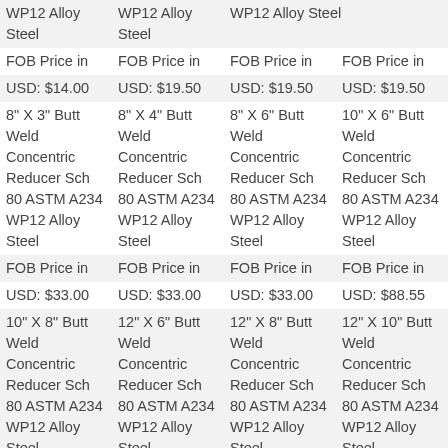| WP12 Alloy Steel | WP12 Alloy Steel | WP12 Alloy Steel |  |
| FOB Price in | FOB Price in | FOB Price in | FOB Price in |
| USD: $14.00 | USD: $19.50 | USD: $19.50 | USD: $19.50 |
| 8" X 3" Butt Weld Concentric Reducer Sch 80 ASTM A234 WP12 Alloy Steel | 8" X 4" Butt Weld Concentric Reducer Sch 80 ASTM A234 WP12 Alloy Steel | 8" X 6" Butt Weld Concentric Reducer Sch 80 ASTM A234 WP12 Alloy Steel | 10" X 6" Butt Weld Concentric Reducer Sch 80 ASTM A234 WP12 Alloy Steel |
| FOB Price in | FOB Price in | FOB Price in | FOB Price in |
| USD: $33.00 | USD: $33.00 | USD: $33.00 | USD: $88.55 |
| 10" X 8" Butt Weld Concentric Reducer Sch 80 ASTM A234 WP12 Alloy Steel | 12" X 6" Butt Weld Concentric Reducer Sch 80 ASTM A234 WP12 Alloy Steel | 12" X 8" Butt Weld Concentric Reducer Sch 80 ASTM A234 WP12 Alloy Steel | 12" X 10" Butt Weld Concentric Reducer Sch 80 ASTM A234 WP12 Alloy Steel |
| FOB Price in | FOB Price in | FOB Price in | FOB Price in |
| USD: $88.55 | USD: $115.00 | USD: $115.00 | USD: $115.00 |